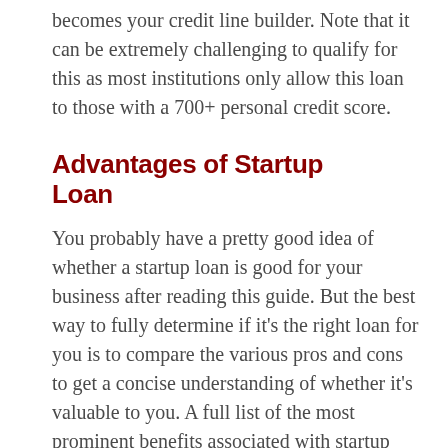becomes your credit line builder. Note that it can be extremely challenging to qualify for this as most institutions only allow this loan to those with a 700+ personal credit score.
Advantages of Startup Loan
You probably have a pretty good idea of whether a startup loan is good for your business after reading this guide. But the best way to fully determine if it’s the right loan for you is to compare the various pros and cons to get a concise understanding of whether it’s valuable to you. A full list of the most prominent benefits associated with startup loans is provided below:
Eligibility – Startup loan providers know that